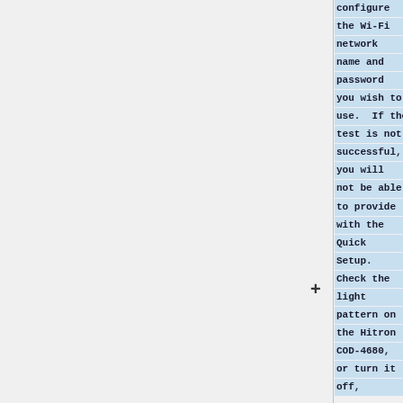configure the Wi-Fi network name and password you wish to use. If the test is not successful, you will not be able to provide with the Quick Setup. Check the light pattern on the Hitron COD-4680, or turn it off,